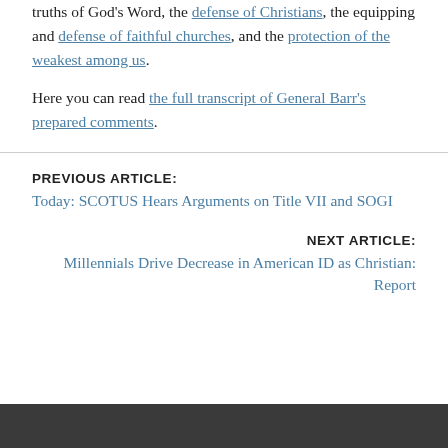truths of God's Word, the defense of Christians, the equipping and defense of faithful churches, and the protection of the weakest among us.
Here you can read the full transcript of General Barr's prepared comments.
PREVIOUS ARTICLE: Today: SCOTUS Hears Arguments on Title VII and SOGI
NEXT ARTICLE: Millennials Drive Decrease in American ID as Christian: Report